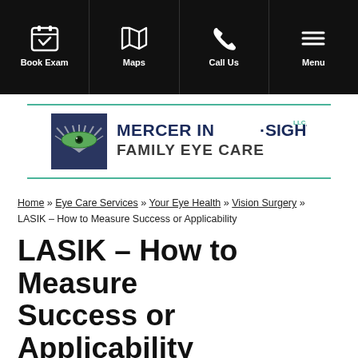Book Exam | Maps | Call Us | Menu
[Figure (logo): Mercer In-Sight LLC Family Eye Care logo with stylized eye icon]
Home » Eye Care Services » Your Eye Health » Vision Surgery » LASIK – How to Measure Success or Applicability
LASIK – How to Measure Success or Applicability